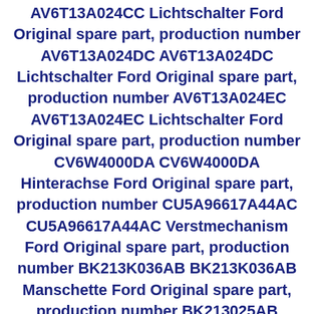AV6T13A024CC Lichtschalter Ford Original spare part, production number AV6T13A024DC AV6T13A024DC Lichtschalter Ford Original spare part, production number AV6T13A024EC AV6T13A024EC Lichtschalter Ford Original spare part, production number CV6W4000DA CV6W4000DA Hinterachse Ford Original spare part, production number CU5A96617A44AC CU5A96617A44AC Verstmechanism Ford Original spare part, production number BK213K036AB BK213K036AB Manschette Ford Original spare part, production number BK213025AB BK213025AB Stossfónger Ford Original spare part, production number CV44S11168AB CV44S11168AB Isolation Ford Original spare part, production number CV44S51916CD3AM1 CV44S51916CD3AM1